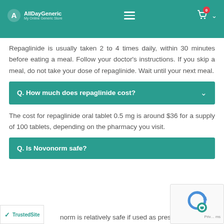AllDayGeneric – My Online Generic Store
Repaglinide is usually taken 2 to 4 times daily, within 30 minutes before eating a meal. Follow your doctor's instructions. If you skip a meal, do not take your dose of repaglinide. Wait until your next meal.
Q. How much does repaglinide cost?
The cost for repaglinide oral tablet 0.5 mg is around $36 for a supply of 100 tablets, depending on the pharmacy you visit.
Q. Is Novonorm safe?
Novonorm is relatively safe if used as prescribed.